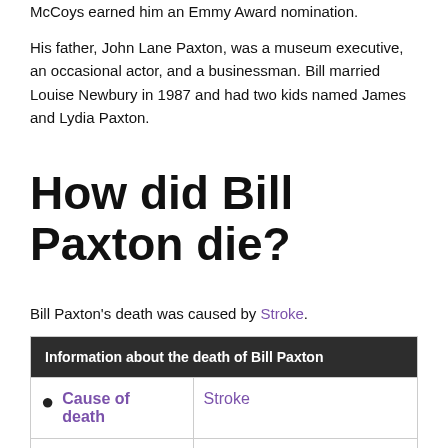McCoys earned him an Emmy Award nomination.
His father, John Lane Paxton, was a museum executive, an occasional actor, and a businessman. Bill married Louise Newbury in 1987 and had two kids named James and Lydia Paxton.
How did Bill Paxton die?
Bill Paxton's death was caused by Stroke.
| Information about the death of Bill Paxton |
| --- |
| Cause of death | Stroke |
| Age of death | 61 years |